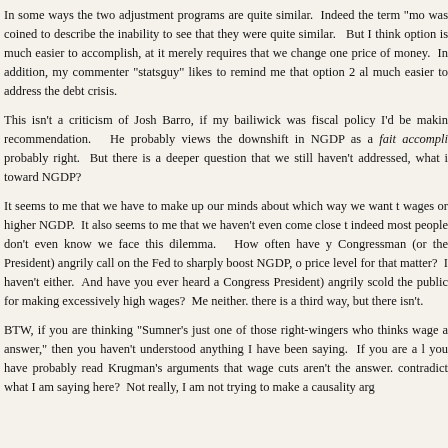In some ways the two adjustment programs are quite similar.  Indeed the term "mo was coined to describe the inability to see that they were quite similar.   But I think option is much easier to accomplish, at it merely requires that we change one price of money.  In addition, my commenter "statsguy" likes to remind me that option 2 al much easier to address the debt crisis.
This isn't a criticism of Josh Barro, if my bailiwick was fiscal policy I'd be makin recommendation.  He probably views the downshift in NGDP as a fait accompli probably right.  But there is a deeper question that we still haven't addressed, what i toward NGDP?
It seems to me that we have to make up our minds about which way we want t wages or higher NGDP.  It also seems to me that we haven't even come close t indeed most people don't even know we face this dilemma.  How often have y Congressman (or the President) angrily call on the Fed to sharply boost NGDP, o price level for that matter?  I haven't either.  And have you ever heard a Congress President) angrily scold the public for making excessively high wages?  Me neither. there is a third way, but there isn't.
BTW, if you are thinking "Sumner's just one of those right-wingers who thinks wage a answer," then you haven't understood anything I have been saying.  If you are a l you have probably read Krugman's arguments that wage cuts aren't the answer. contradict what I am saying here?  Not really, I am not trying to make a causality arg